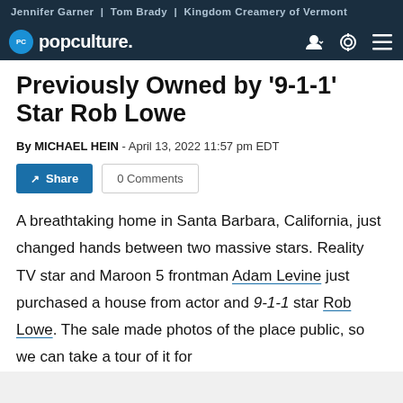Jennifer Garner | Tom Brady | Kingdom Creamery of Vermont
popculture.
Previously Owned by '9-1-1' Star Rob Lowe
By MICHAEL HEIN - April 13, 2022 11:57 pm EDT
Share | 0 Comments
A breathtaking home in Santa Barbara, California, just changed hands between two massive stars. Reality TV star and Maroon 5 frontman Adam Levine just purchased a house from actor and 9-1-1 star Rob Lowe. The sale made photos of the place public, so we can take a tour of it for